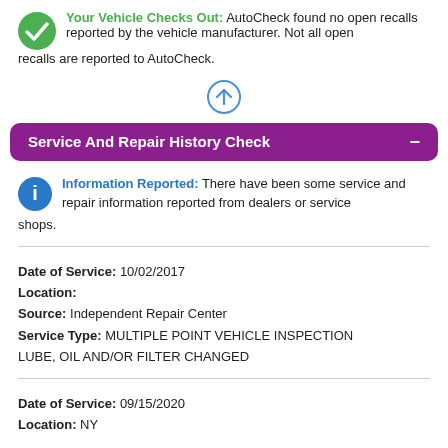Your Vehicle Checks Out: AutoCheck found no open recalls reported by the vehicle manufacturer. Not all open recalls are reported to AutoCheck.
[Figure (other): Green checkmark circle icon]
[Figure (other): Blue circle with up arrow icon (scroll to top)]
Service And Repair History Check
Information Reported: There have been some service and repair information reported from dealers or service shops.
[Figure (other): Blue circle information icon]
Date of Service: 10/02/2017
Location:
Source: Independent Repair Center
Service Type: MULTIPLE POINT VEHICLE INSPECTION LUBE, OIL AND/OR FILTER CHANGED
Date of Service: 09/15/2020
Location: NY